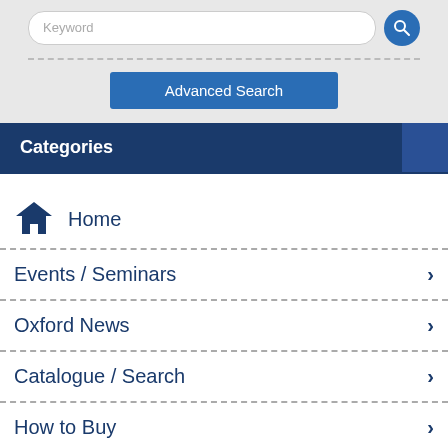[Figure (screenshot): Search input field with 'Keyword' placeholder and blue search button]
Advanced Search
Categories
Home
Events / Seminars
Oxford News
Catalogue / Search
How to Buy